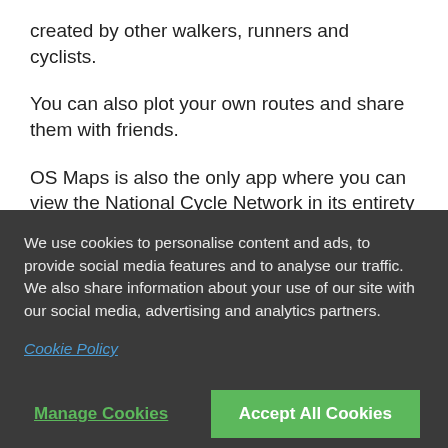created by other walkers, runners and cyclists.
You can also plot your own routes and share them with friends.
OS Maps is also the only app where you can view the National Cycle Network in its entirety and explore its routes. See how below.
Komoot
Komoot is another great app for exploring routes. You
We use cookies to personalise content and ads, to provide social media features and to analyse our traffic. We also share information about your use of our site with our social media, advertising and analytics partners.
Cookie Policy
Manage Cookies
Accept All Cookies